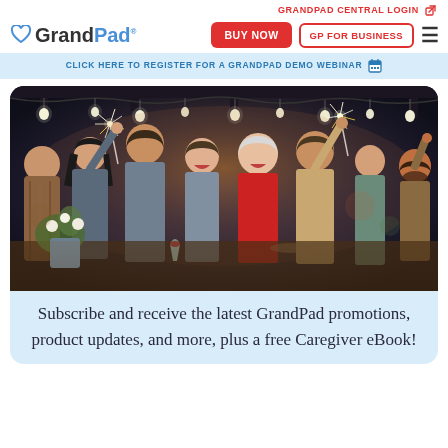GRANDPAD CENTRAL LOGIN ↗
[Figure (logo): GrandPad logo with blue heart icon and 'GrandPad' text, navigation buttons 'BUY NOW' (red) and 'GP FOR BUSINESS' (red outline), and hamburger menu]
CLICK HERE TO REGISTER FOR A GRANDPAD DEMO WEBINAR 📅
[Figure (photo): Group of happy people at a party celebrating outdoors at night with sparklers and hanging string lights]
Subscribe and receive the latest GrandPad promotions, product updates, and more, plus a free Caregiver eBook!